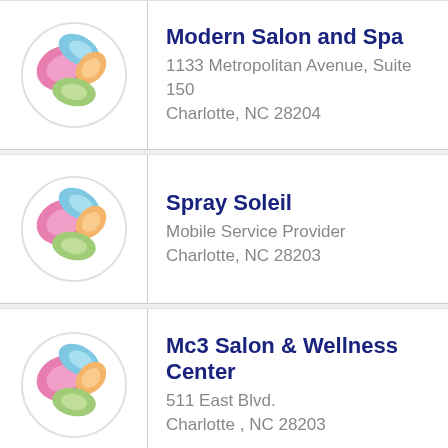Modern Salon and Spa
1133 Metropolitan Avenue, Suite 150
Charlotte, NC 28204
Spray Soleil
Mobile Service Provider
Charlotte, NC 28203
Mc3 Salon & Wellness Center
511 East Blvd.
Charlotte , NC 28203
Hair By Design Salon